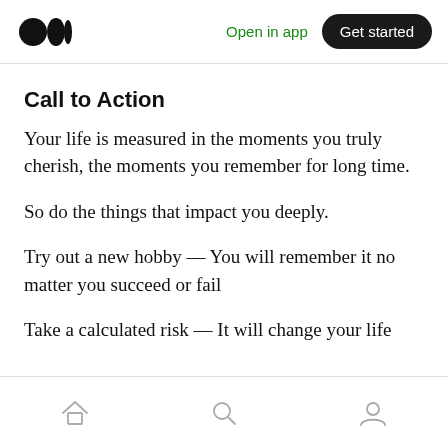Medium logo | Open in app | Get started
Call to Action
Your life is measured in the moments you truly cherish, the moments you remember for long time.
So do the things that impact you deeply.
Try out a new hobby — You will remember it no matter you succeed or fail
Take a calculated risk — It will change your life
Home | Search | Profile